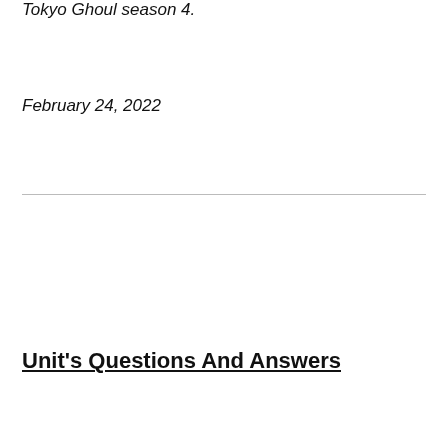Tokyo Ghoul season 4.
February 24, 2022
Unit's Questions And Answers